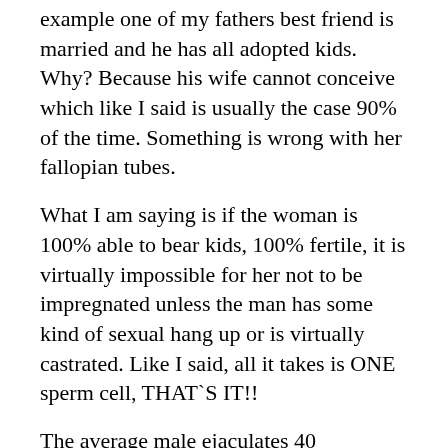example one of my fathers best friend is married and he has all adopted kids. Why? Because his wife cannot conceive which like I said is usually the case 90% of the time. Something is wrong with her fallopian tubes.
What I am saying is if the woman is 100% able to bear kids, 100% fertile, it is virtually impossible for her not to be impregnated unless the man has some kind of sexual hang up or is virtually castrated. Like I said, all it takes is ONE sperm cell, THAT`S IT!!
The average male ejaculates 40 MILLION sperm in each orgasm! Put it this way, even if the male has the lowest sperm count you can imagine, only 100 every ejaculate, the only way that woman will not be impregnated is if sex rarely happens! My cousin had a low rating because he got married at 35 and he eventually had THREE kids!! It all comes down to trying and trying (to not get so